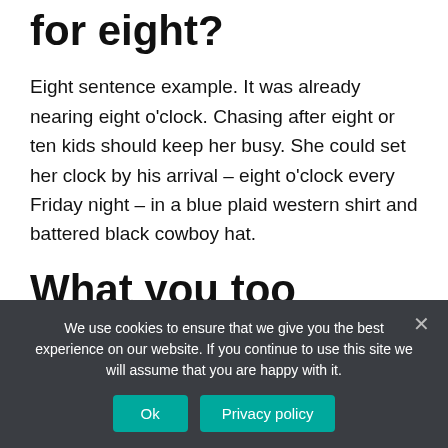for eight?
Eight sentence example. It was already nearing eight o'clock. Chasing after eight or ten kids should keep her busy. She could set her clock by his arrival – eight o'clock every Friday night – in a blue plaid western shirt and battered black cowboy hat.
What you too
We use cookies to ensure that we give you the best experience on our website. If you continue to use this site we will assume that you are happy with it.